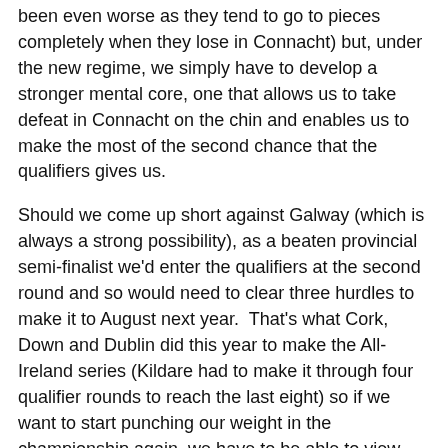been even worse as they tend to go to pieces completely when they lose in Connacht) but, under the new regime, we simply have to develop a stronger mental core, one that allows us to take defeat in Connacht on the chin and enables us to make the most of the second chance that the qualifiers gives us.
Should we come up short against Galway (which is always a strong possibility), as a beaten provincial semi-finalist we'd enter the qualifiers at the second round and so would need to clear three hurdles to make it to August next year.  That's what Cork, Down and Dublin did this year to make the All-Ireland series (Kildare had to make it through four qualifier rounds to reach the last eight) so if we want to start punching our weight in the championship again, we have to be able to view this route with a bit of equanimity.  We'd all love to see James Horan's reign get off to a flyer with victory over Galway but getting to the All-Ireland series – however this happens and whatever happens to us on the way – has to be the target we keep our eye on for 2011.